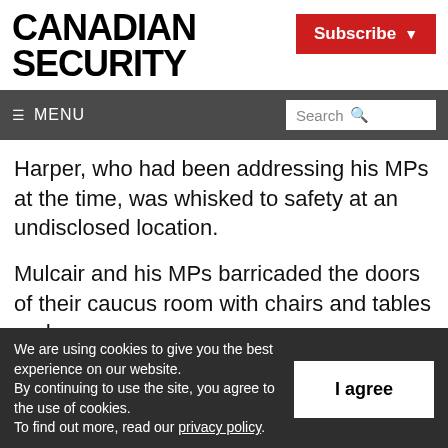CANADIAN SECURITY
Subscribe
≡ MENU  Search
Harper, who had been addressing his MPs at the time, was whisked to safety at an undisclosed location.
Mulcair and his MPs barricaded the doors of their caucus room with chairs and tables and
We are using cookies to give you the best experience on our website.
By continuing to use the site, you agree to the use of cookies.
To find out more, read our privacy policy.
I agree